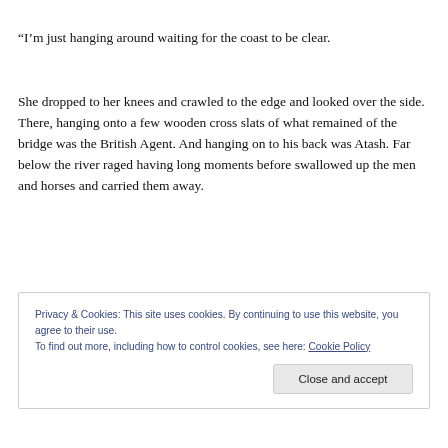“I’m just hanging around waiting for the coast to be clear.
She dropped to her knees and crawled to the edge and looked over the side. There, hanging onto a few wooden cross slats of what remained of the bridge was the British Agent. And hanging on to his back was Atash. Far below the river raged having long moments before swallowed up the men and horses and carried them away.
Privacy & Cookies: This site uses cookies. By continuing to use this website, you agree to their use.
To find out more, including how to control cookies, see here: Cookie Policy
Close and accept